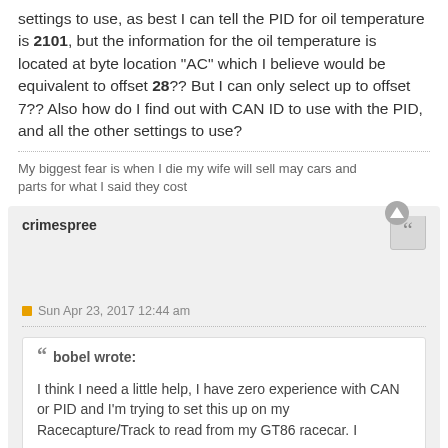settings to use, as best I can tell the PID for oil temperature is 2101, but the information for the oil temperature is located at byte location "AC" which I believe would be equivalent to offset 28?? But I can only select up to offset 7?? Also how do I find out with CAN ID to use with the PID, and all the other settings to use?
My biggest fear is when I die my wife will sell may cars and parts for what I said they cost
crimespree
Sun Apr 23, 2017 12:44 am
bobel wrote: I think I need a little help, I have zero experience with CAN or PID and I'm trying to set this up on my Racecapture/Track to read from my GT86 racecar. I